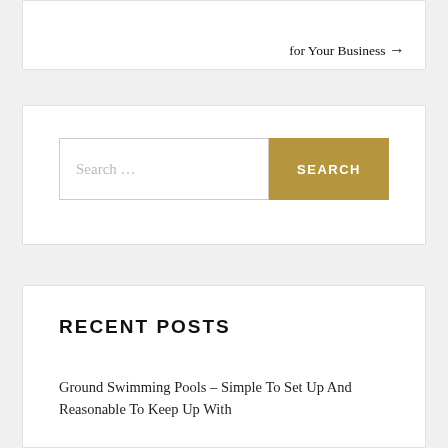for Your Business →
[Figure (screenshot): Search bar with text 'Search ...' and a gold 'SEARCH' button]
RECENT POSTS
Ground Swimming Pools – Simple To Set Up And Reasonable To Keep Up With
Digital Photograph Imaging In Film Promoting – Best In Business